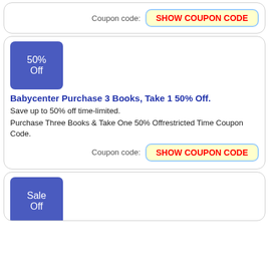Coupon code: SHOW COUPON CODE
[Figure (infographic): 50% Off discount badge in blue, square with rounded corners]
Babycenter Purchase 3 Books, Take 1 50% Off.
Save up to 50% off time-limited.
Purchase Three Books & Take One 50% Offrestricted Time Coupon Code.
Coupon code: SHOW COUPON CODE
[Figure (infographic): Sale Off discount badge in blue, square with rounded corners]